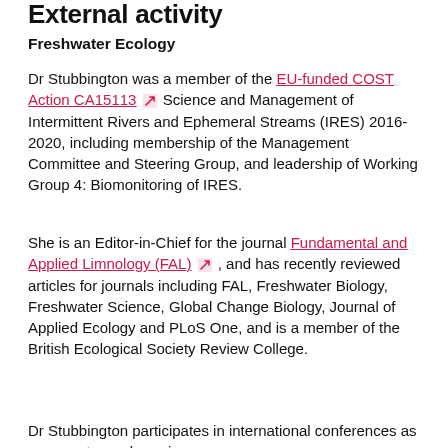External activity
Freshwater Ecology
Dr Stubbington was a member of the EU-funded COST Action CA15113 Science and Management of Intermittent Rivers and Ephemeral Streams (IRES) 2016-2020, including membership of the Management Committee and Steering Group, and leadership of Working Group 4: Biomonitoring of IRES.
She is an Editor-in-Chief for the journal Fundamental and Applied Limnology (FAL), and has recently reviewed articles for journals including FAL, Freshwater Biology, Freshwater Science, Global Change Biology, Journal of Applied Ecology and PLoS One, and is a member of the British Ecological Society Review College.
Dr Stubbington participates in international conferences as a presenter and session co-convener